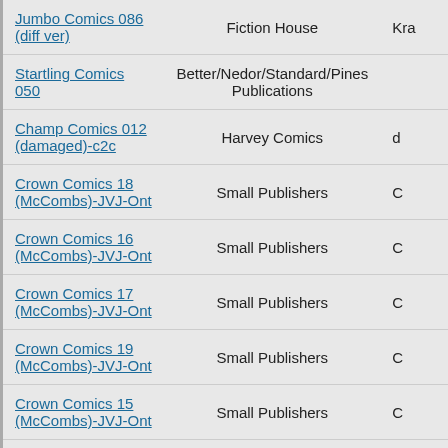| Title | Publisher | Other |
| --- | --- | --- |
| Jumbo Comics 086 (diff ver) | Fiction House | Kra… |
| Startling Comics 050 | Better/Nedor/Standard/Pines Publications |  |
| Champ Comics 012 (damaged)-c2c | Harvey Comics | d… |
| Crown Comics 18 (McCombs)-JVJ-Ont | Small Publishers | C… |
| Crown Comics 16 (McCombs)-JVJ-Ont | Small Publishers | C… |
| Crown Comics 17 (McCombs)-JVJ-Ont | Small Publishers | C… |
| Crown Comics 19 (McCombs)-JVJ-Ont | Small Publishers | C… |
| Crown Comics 15 (McCombs)-JVJ-Ont | Small Publishers | C… |
| Jungle Comics 130 (rescan) -upgrade | Fiction House | f… |